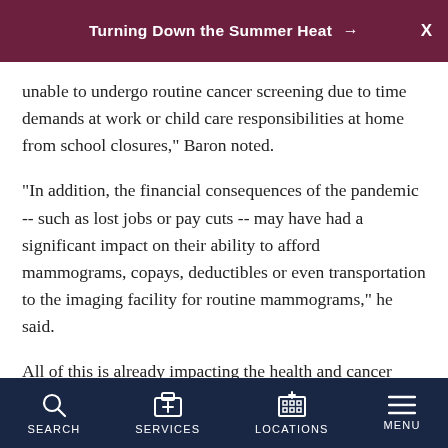Turning Down the Summer Heat →
unable to undergo routine cancer screening due to time demands at work or child care responsibilities at home from school closures," Baron noted.
"In addition, the financial consequences of the pandemic -- such as lost jobs or pay cuts -- may have had a significant impact on their ability to afford mammograms, copays, deductibles or even transportation to the imaging facility for routine mammograms," he said.
All of this is already impacting the health and cancer prognosis of women being screened now, Baron
SEARCH   SERVICES   LOCATIONS   MENU